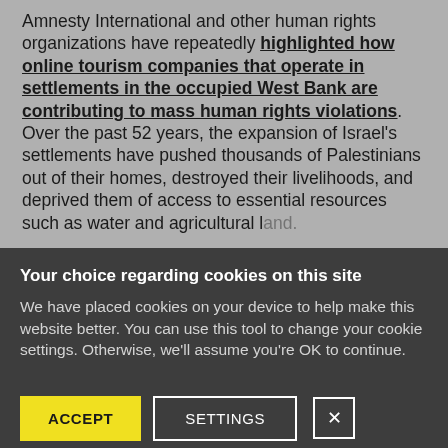Amnesty International and other human rights organizations have repeatedly highlighted how online tourism companies that operate in settlements in the occupied West Bank are contributing to mass human rights violations. Over the past 52 years, the expansion of Israel's settlements have pushed thousands of Palestinians out of their homes, destroyed their livelihoods, and deprived them of access to essential resources such as water and agricultural land.
Your choice regarding cookies on this site
We have placed cookies on your device to help make this website better. You can use this tool to change your cookie settings. Otherwise, we'll assume you're OK to continue.